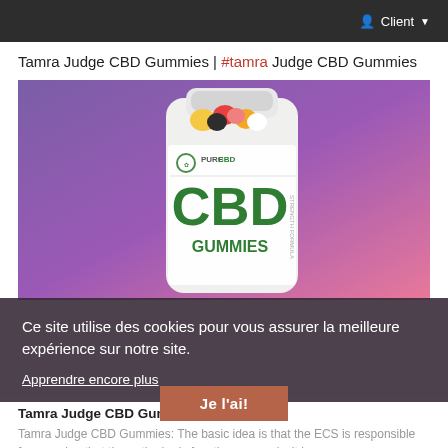Client
Tamra Judge CBD Gummies | #tamra Judge CBD Gummies
[Figure (photo): A jar of Pure CBD CBD Gummies product with colorful gummy candies visible at the top, displayed against a purple-to-pink gradient background.]
Ce site utilise des cookies pour vous assurer la meilleure expérience sur notre site.
Apprendre encore plus
Tamra Judge CBD Gummies
Tamra Judge CBD Gummies: The basic idea is that the ECS is responsible for ensuring that the entire body functions properly. It is